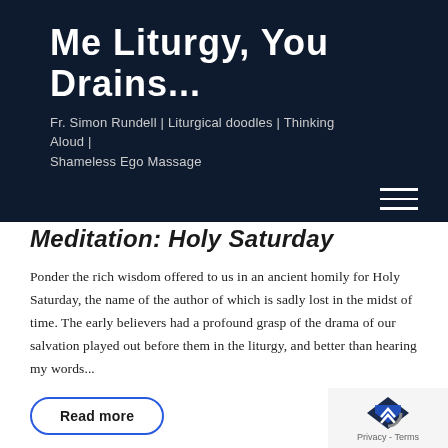Me Liturgy, You Drains...
Fr. Simon Rundell | Liturgical doodles | Thinking Aloud | Shameless Ego Massage
Meditation: Holy Saturday
Ponder the rich wisdom offered to us in an ancient homily for Holy Saturday, the name of the author of which is sadly lost in the midst of time. The early believers had a profound grasp of the drama of our salvation played out before them in the liturgy, and better than hearing my words...
Read more